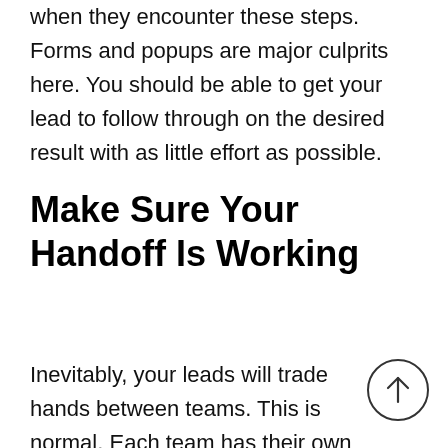when they encounter these steps. Forms and popups are major culprits here. You should be able to get your lead to follow through on the desired result with as little effort as possible.
Make Sure Your Handoff Is Working
Inevitably, your leads will trade hands between teams. This is normal. Each team has their own specialty and their own area of